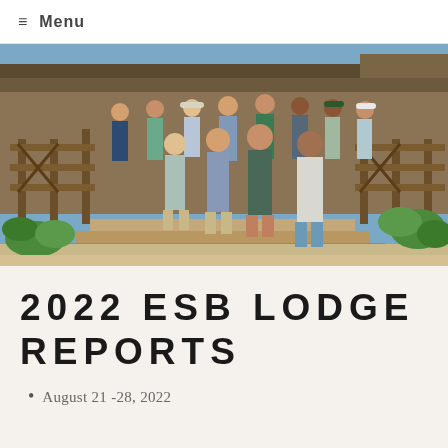≡ Menu
[Figure (photo): Group photo of roughly 12 men standing on wooden steps in front of a lodge with a wooden railing. They are wearing casual outdoor and fishing attire. There are tropical plants in the foreground.]
2022 ESB LODGE REPORTS
August 21 -28, 2022